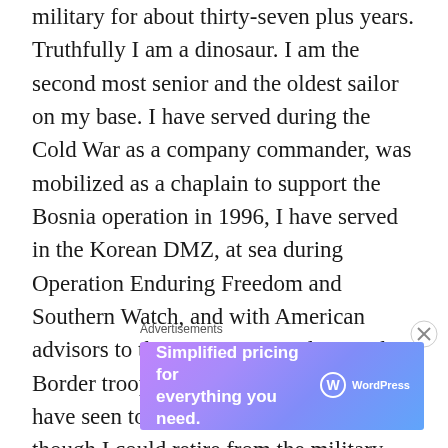military for about thirty-seven plus years. Truthfully I am a dinosaur. I am the second most senior and the oldest sailor on my base. I have served during the Cold War as a company commander, was mobilized as a chaplain to support the Bosnia operation in 1996, I have served in the Korean DMZ, at sea during Operation Enduring Freedom and Southern Watch, and with American advisors to the Iraqi Army, Police, and Border troops in Al Anbar Province. I have seen too much of war but even though I could retire from the military today I still believe that I am called to serve and care for the men and women who will go into harm's way.
Advertisements
[Figure (other): WordPress.com advertisement banner with purple-to-blue gradient background, text reading 'Simplified pricing for everything you need.' with WordPress.com logo on the right.]